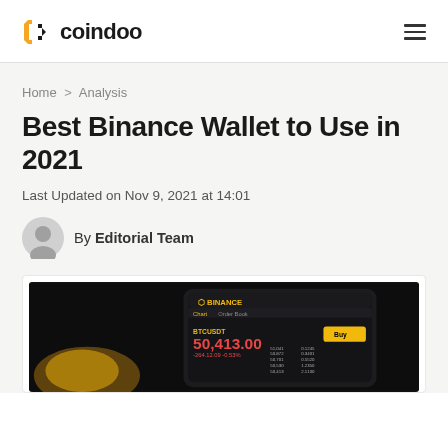coindoo
Home > Analysis
Best Binance Wallet to Use in 2021
Last Updated on Nov 9, 2021 at 14:01
By Editorial Team
[Figure (photo): Hand holding a smartphone displaying the Binance trading app with a price of 50,413.00, with a gold Bitcoin coin in the foreground.]